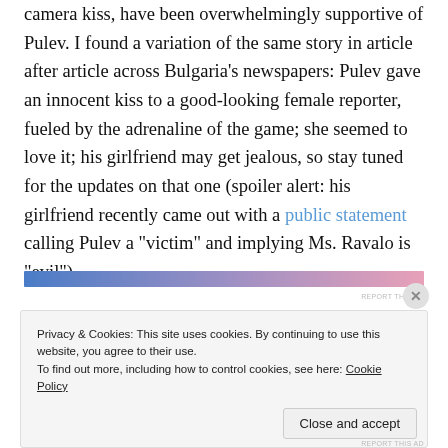camera kiss, have been overwhelmingly supportive of Pulev. I found a variation of the same story in article after article across Bulgaria's newspapers: Pulev gave an innocent kiss to a good-looking female reporter, fueled by the adrenaline of the game; she seemed to love it; his girlfriend may get jealous, so stay tuned for the updates on that one (spoiler alert: his girlfriend recently came out with a public statement calling Pulev a "victim" and implying Ms. Ravalo is "evil").
[Figure (other): Horizontal gradient advertisement bar transitioning from blue on the left to pink on the right, with 'REPORT THIS AD' text below it.]
Privacy & Cookies: This site uses cookies. By continuing to use this website, you agree to their use.
To find out more, including how to control cookies, see here: Cookie Policy